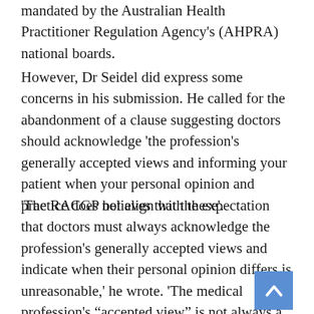mandated by the Australian Health Practitioner Regulation Agency's (AHPRA) national boards.
However, Dr Seidel did express some concerns in his submission. He called for the abandonment of a clause suggesting doctors should acknowledge 'the profession's generally accepted views and informing your patient when your personal opinion and practice does not align with these'.
‘The RACGP believes that the expectation that doctors must always acknowledge the profession’s generally accepted views and indicate when their personal opinion differs is unreasonable,’ he wrote. ‘The medical profession’s “accepted view” is not always a clear consensus, especially given the evolving nature of the medical environment.
[Figure (other): Blue back-to-top button with white chevron arrow pointing upward, positioned at bottom right]